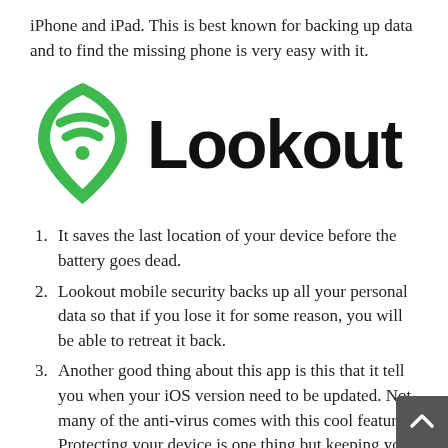iPhone and iPad. This is best known for backing up data and to find the missing phone is very easy with it.
[Figure (logo): Lookout mobile security logo: green shield-like icon with three curved lines, next to the word 'Lookout' in bold black sans-serif font]
It saves the last location of your device before the battery goes dead.
Lookout mobile security backs up all your personal data so that if you lose it for some reason, you will be able to retreat it back.
Another good thing about this app is this that it tell you when your iOS version need to be updated. Not many of the anti-virus comes with this cool feature. Protecting your device is one thing but keeping you update about app and iOS is a thing that really makes it worth trying.